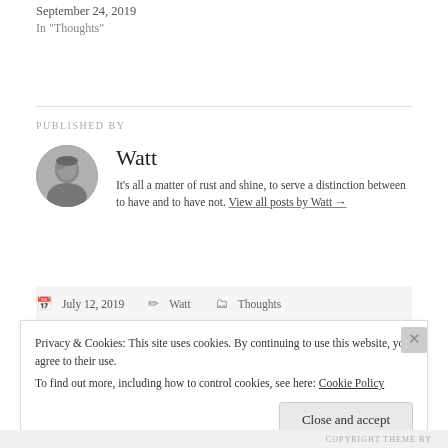September 24, 2019
In "Thoughts"
PUBLISHED BY
Watt
It's all a matter of rust and shine, to serve a distinction between to have and to have not. View all posts by Watt →
July 12, 2019  Watt  Thoughts
Privacy & Cookies: This site uses cookies. By continuing to use this website, you agree to their use.
To find out more, including how to control cookies, see here: Cookie Policy